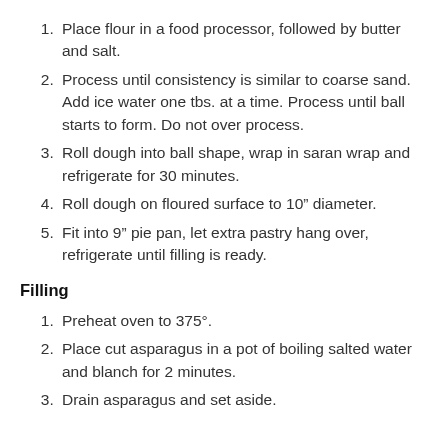Place flour in a food processor, followed by butter and salt.
Process until consistency is similar to coarse sand. Add ice water one tbs. at a time. Process until ball starts to form. Do not over process.
Roll dough into ball shape, wrap in saran wrap and refrigerate for 30 minutes.
Roll dough on floured surface to 10” diameter.
Fit into 9” pie pan, let extra pastry hang over, refrigerate until filling is ready.
Filling
Preheat oven to 375°.
Place cut asparagus in a pot of boiling salted water and blanch for 2 minutes.
Drain asparagus and set aside.